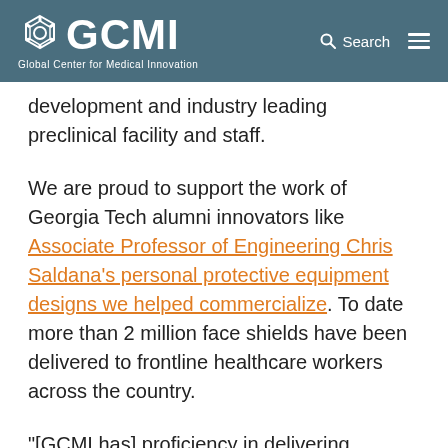GCMI — Global Center for Medical Innovation
development and industry leading preclinical facility and staff.
We are proud to support the work of Georgia Tech alumni innovators like Associate Professor of Engineering Chris Saldana's personal protective equipment designs we helped commercialize. To date more than 2 million face shields have been delivered to frontline healthcare workers across the country.
"[GCMI has] proficiency in delivering products to markets including working with frontline hospitals and health systems where these shields will be put